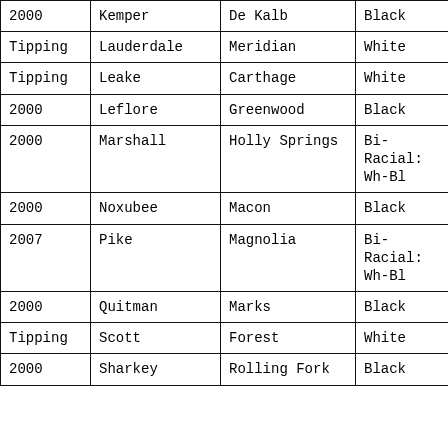| 2000 | Kemper | De Kalb | Black |
| Tipping | Lauderdale | Meridian | White |
| Tipping | Leake | Carthage | White |
| 2000 | Leflore | Greenwood | Black |
| 2000 | Marshall | Holly Springs | Bi-Racial: Wh-Bl |
| 2000 | Noxubee | Macon | Black |
| 2007 | Pike | Magnolia | Bi-Racial: Wh-Bl |
| 2000 | Quitman | Marks | Black |
| Tipping | Scott | Forest | White |
| 2000 | Sharkey | Rolling Fork | Black |